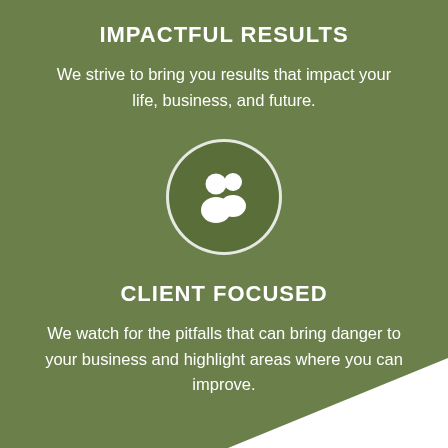IMPACTFUL RESULTS
We strive to bring you results that impact your life, business, and future.
[Figure (illustration): White circle outline containing a darker green filled circle with two white person/user silhouette icons (group/clients icon)]
CLIENT FOCUSED
We watch for the pitfalls that can bring danger to your business and highlight areas where you can improve.